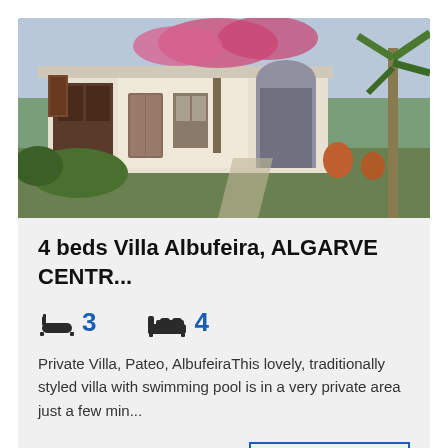[Figure (photo): Exterior photo of a white Portuguese-style villa with brown wooden doors, bougainvillea flowers, green lawn, palm tree on the right, and a gravel driveway path]
4 beds Villa Albufeira, ALGARVE CENTR...
3 bathrooms, 4 bedrooms (icons)
Private Villa, Pateo, AlbufeiraThis lovely, traditionally styled villa with swimming pool is in a very private area just a few min...
EUR 395,000
SEE MORE >>